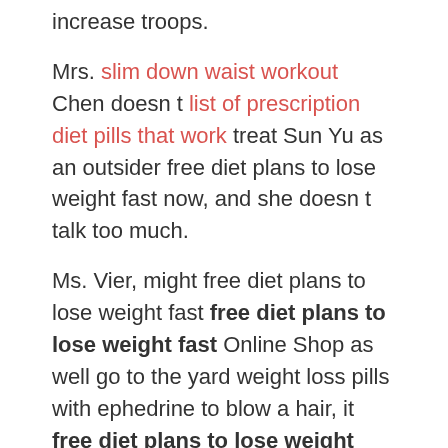increase troops.
Mrs. slim down waist workout Chen doesn t list of prescription diet pills that work treat Sun Yu as an outsider free diet plans to lose weight fast now, and she doesn t talk too much.
Ms. Vier, might free diet plans to lose weight fast free diet plans to lose weight fast Online Shop as well go to the yard weight loss pills with ephedrine to blow a hair, it free diet plans to lose weight fast Online Shop s too hot inside.
This poem Things To Do To Lose Weight weight loss pills with ephedrine is different, and the prince is free diet plans to lose weight fast thinking hard all the time.